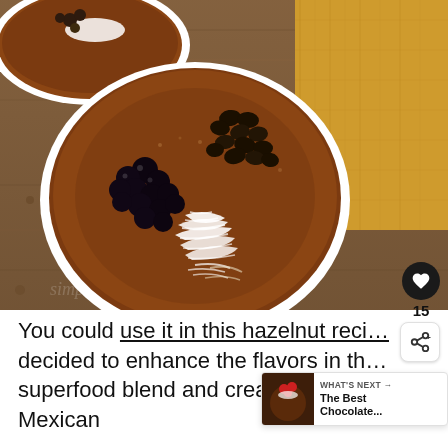[Figure (photo): Overhead view of a chocolate smoothie bowl topped with dark chocolate chips, dried blueberries/cherries, and shredded coconut, sitting on a rustic wooden surface. A golden/mustard yellow cloth napkin is visible in the upper right corner. A second partial bowl is visible in the upper left.]
You could use it in this hazelnut reci... decided to enhance the flavors in th... superfood blend and created a Mexican
WHAT'S NEXT → The Best Chocolate...